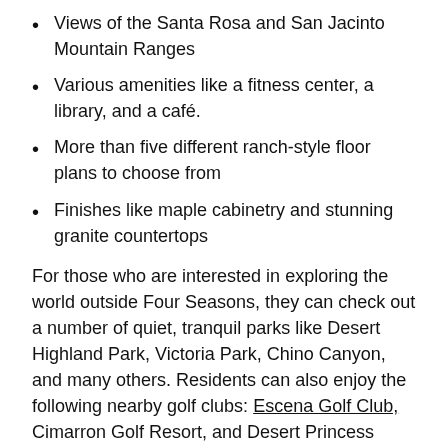Views of the Santa Rosa and San Jacinto Mountain Ranges
Various amenities like a fitness center, a library, and a café.
More than five different ranch-style floor plans to choose from
Finishes like maple cabinetry and stunning granite countertops
For those who are interested in exploring the world outside Four Seasons, they can check out a number of quiet, tranquil parks like Desert Highland Park, Victoria Park, Chino Canyon, and many others. Residents can also enjoy the following nearby golf clubs: Escena Golf Club, Cimarron Golf Resort, and Desert Princess Country Club.